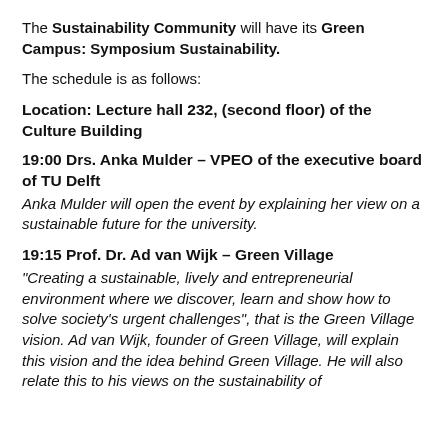The Sustainability Community will have its Green Campus: Symposium Sustainability.
The schedule is as follows:
Location: Lecture hall 232, (second floor) of the Culture Building
19:00 Drs. Anka Mulder – VPEO of the executive board of TU Delft
Anka Mulder will open the event by explaining her view on a sustainable future for the university.
19:15 Prof. Dr. Ad van Wijk – Green Village
"Creating a sustainable, lively and entrepreneurial environment where we discover, learn and show how to solve society's urgent challenges", that is the Green Village vision. Ad van Wijk, founder of Green Village, will explain this vision and the idea behind Green Village. He will also relate this to his views on the sustainability of